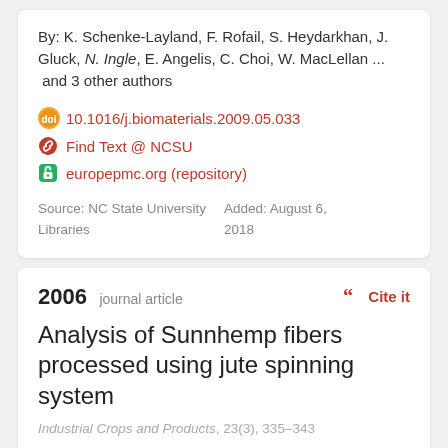By: K. Schenke-Layland, F. Rofail, S. Heydarkhan, J. Gluck, N. Ingle, E. Angelis, C. Choi, W. MacLellan ... and 3 other authors
10.1016/j.biomaterials.2009.05.033
Find Text @ NCSU
europepmc.org (repository)
Source: NC State University Libraries
Added: August 6, 2018
2006 journal article
Cite it
Analysis of Sunnhemp fibers processed using jute spinning system
Industrial Crops and Products, 23(3), 335–343